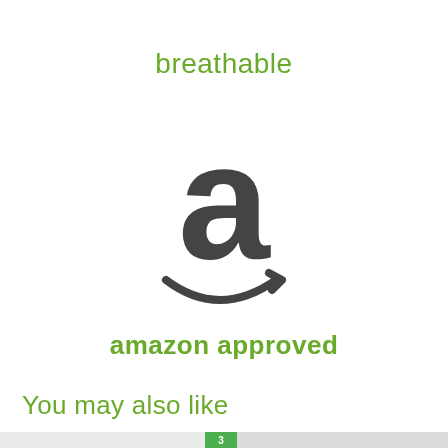breathable
[Figure (logo): Amazon logo — large stylized lowercase 'a' in dark gray with the Amazon smile arrow beneath it]
amazon approved
You may also like
[Figure (photo): Bottom strip showing product thumbnails — baby clothing on the left and a striped canopy/tent on the right with a green badge showing '3']